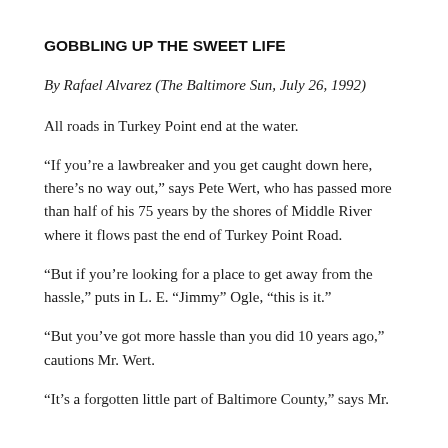GOBBLING UP THE SWEET LIFE
By Rafael Alvarez (The Baltimore Sun, July 26, 1992)
All roads in Turkey Point end at the water.
“If you’re a lawbreaker and you get caught down here, there’s no way out,” says Pete Wert, who has passed more than half of his 75 years by the shores of Middle River where it flows past the end of Turkey Point Road.
“But if you’re looking for a place to get away from the hassle,” puts in L. E. “Jimmy” Ogle, “this is it.”
“But you’ve got more hassle than you did 10 years ago,” cautions Mr. Wert.
“It’s a forgotten little part of Baltimore County,” says Mr.